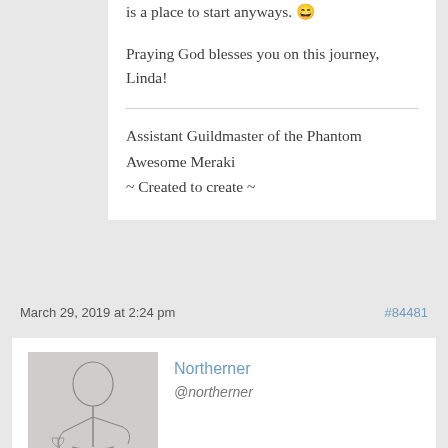is a place to start anyways. 😄
Praying God blesses you on this journey, Linda!
Assistant Guildmaster of the Phantom Awesome Meraki
~ Created to create ~
March 29, 2019 at 2:24 pm
#84481
[Figure (illustration): Pencil sketch avatar of a person in classical robes holding items]
Northerner
@northerner
@selah-chelyah and everyone: G. A. Henty is good at plotting. Admittedly, he put a lot of